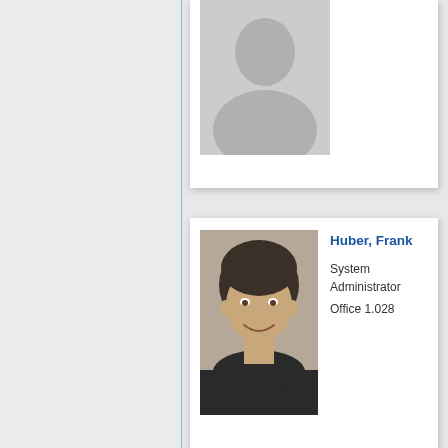[Figure (photo): Partial person card at top of page showing a generic placeholder avatar photo (grey silhouette), cropped at the top]
Huber, Frank
System Administrator
Office 1.028
[Figure (photo): Photo of Huber, Frank - a smiling man with short hair wearing a dark jacket]
Huebler, Mat
cand.phys.
Office 01.070
[Figure (photo): Generic placeholder avatar photo (grey silhouette person icon) for Huebler]